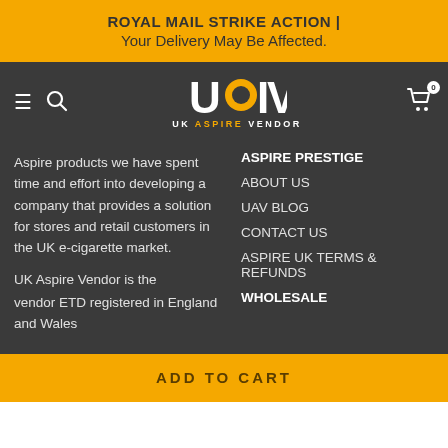ROYAL MAIL STRIKE ACTION | Your Delivery May Be Affected.
[Figure (logo): UK Aspire Vendor logo with hamburger menu, search icon, and cart icon in dark navigation bar]
Aspire products we have spent time and effort into developing a company that provides a solution for stores and retail customers in the UK e-cigarette market.
ASPIRE PRESTIGE
ABOUT US
UAV BLOG
CONTACT US
ASPIRE UK TERMS & REFUNDS
UK Aspire Vendor is the
vendor ETD registered in England and Wales
WHOLESALE